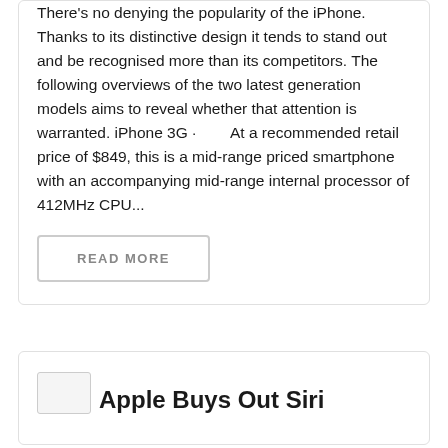There's no denying the popularity of the iPhone. Thanks to its distinctive design it tends to stand out and be recognised more than its competitors. The following overviews of the two latest generation models aims to reveal whether that attention is warranted. iPhone 3G · At a recommended retail price of $849, this is a mid-range priced smartphone with an accompanying mid-range internal processor of 412MHz CPU...
READ MORE
Apple Buys Out Siri